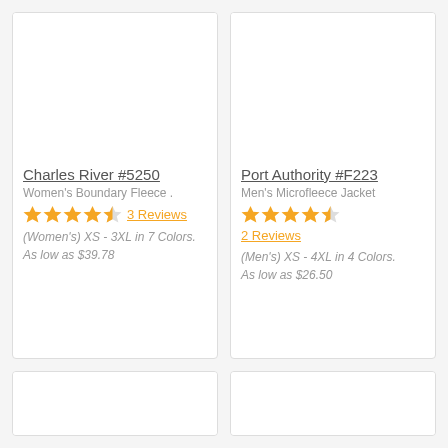Charles River #5250
Women's Boundary Fleece .
4.5 stars, 3 Reviews
(Women's) XS - 3XL in 7 Colors.
As low as $39.78
Port Authority #F223
Men's Microfleece Jacket
4.5 stars, 2 Reviews
(Men's) XS - 4XL in 4 Colors.
As low as $26.50
[Figure (photo): Bottom-left product card image area, blank white]
[Figure (photo): Bottom-right product card image area, blank white]